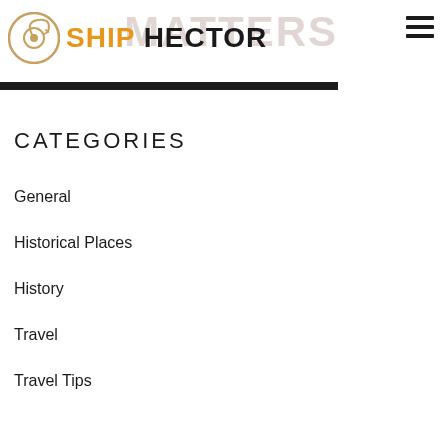[Figure (logo): Ship Hector logo with circular icon and text SHIP HECTOR on a faded banner background with watermark text MATTERS]
CATEGORIES
General
Historical Places
History
Travel
Travel Tips